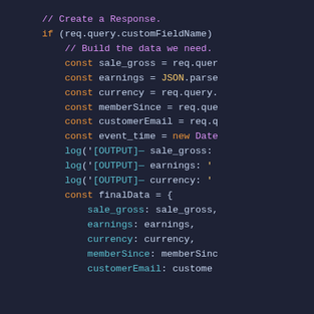[Figure (screenshot): Code editor screenshot showing JavaScript code snippet with syntax highlighting on a dark background. Shows a comment '// Create a Response.', an if statement checking req.query.customFieldName, a comment '// Build the data we need.', multiple const declarations for sale_gross, earnings, currency, memberSince, customerEmail, event_time, several log statements for [OUTPUT], and a const finalData object with properties sale_gross, earnings, currency, memberSince, customerEmail.]